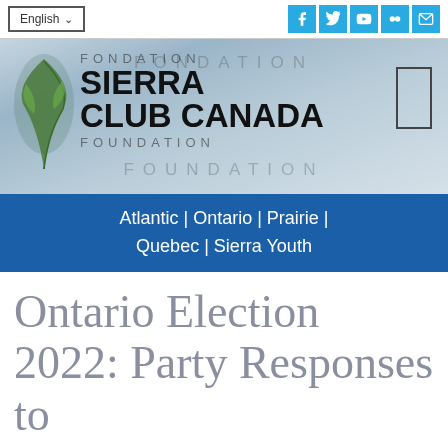English | social icons: Facebook, Twitter, YouTube, Flickr, Email
[Figure (logo): Fondation Sierra Club Canada Foundation logo with leaf/tree graphic and misty forest background]
Atlantic | Ontario | Prairie | Quebec | Sierra Youth
Ontario Election 2022: Party Responses to